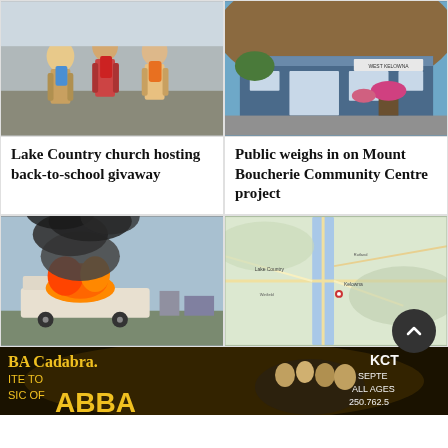[Figure (photo): Children walking to school with backpacks, seen from behind]
Lake Country church hosting back-to-school givaway
[Figure (photo): Exterior of West Kelowna community building with blue facade and signage]
Public weighs in on Mount Boucherie Community Centre project
[Figure (photo): RV on fire with large black smoke cloud]
[Figure (map): Road map showing area around Lake Country and Kelowna region]
[Figure (photo): BA Cadabra advertisement banner - Tribute to ABBA, KCT, September, All Ages, 250.762.5]